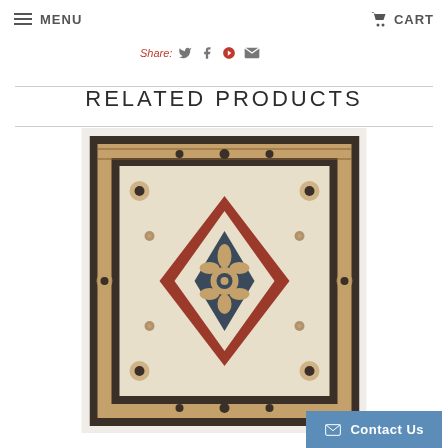MENU   CART
Share:
RELATED PRODUCTS
[Figure (photo): Persian-style decorative area rug with medallion center design in red, cream, navy, and gold tones with ornate floral border]
Contact Us